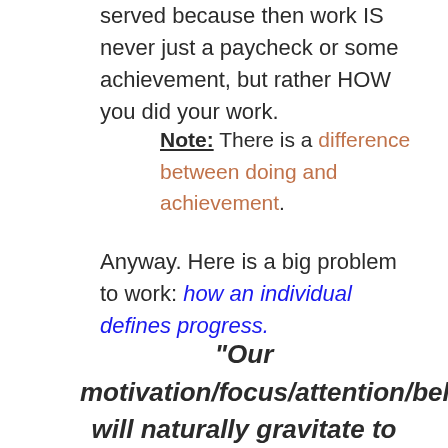served because then work IS never just a paycheck or some achievement, but rather HOW you did your work.
Note: There is a difference between doing and achievement.
Anyway. Here is a big problem to work: how an individual defines progress.
“Our motivation/focus/attention/behaviour will naturally gravitate to things that provide the richest sense of progress”